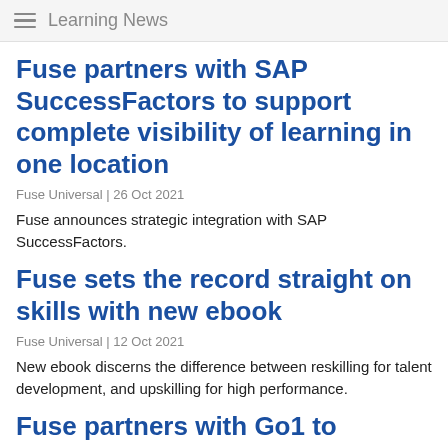Learning News
Fuse partners with SAP SuccessFactors to support complete visibility of learning in one location
Fuse Universal | 26 Oct 2021
Fuse announces strategic integration with SAP SuccessFactors.
Fuse sets the record straight on skills with new ebook
Fuse Universal | 12 Oct 2021
New ebook discerns the difference between reskilling for talent development, and upskilling for high performance.
Fuse partners with Go1 to supercharge content at scale